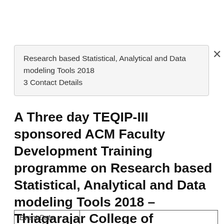Research based Statistical, Analytical and Data modeling Tools 2018
3 Contact Details
A Three day TEQIP-III sponsored ACM Faculty Development Training programme on Research based Statistical, Analytical and Data modeling Tools 2018 – Thiagarajar College of Engineering
| Event Date |  |
| --- | --- |